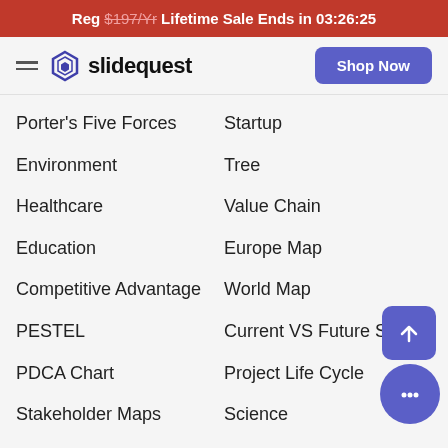Reg $197/Yr Lifetime Sale Ends in 03:26:25
[Figure (logo): Slidequest logo with hamburger menu and Shop Now button]
Porter's Five Forces
Startup
Environment
Tree
Healthcare
Value Chain
Education
Europe Map
Competitive Advantage
World Map
PESTEL
Current VS Future State
PDCA Chart
Project Life Cycle
Stakeholder Maps
Science
Iceberg
U.S. Elections
Pie Charts
Coronavirus
Project Management
Mind Maps